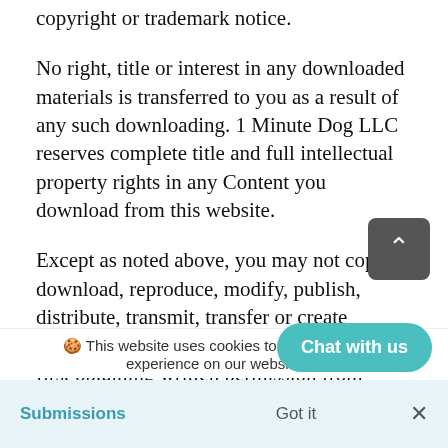copyright or trademark notice.
No right, title or interest in any downloaded materials is transferred to you as a result of any such downloading. 1 Minute Dog LLC reserves complete title and full intellectual property rights in any Content you download from this website.
Except as noted above, you may not copy, download, reproduce, modify, publish, distribute, transmit, transfer or create derivative works from the Content without first obtaining written permission from 1mi...
🍪 This website uses cookies to ensure experience on our website. L
Chat with us
Submissions   Got it   ×